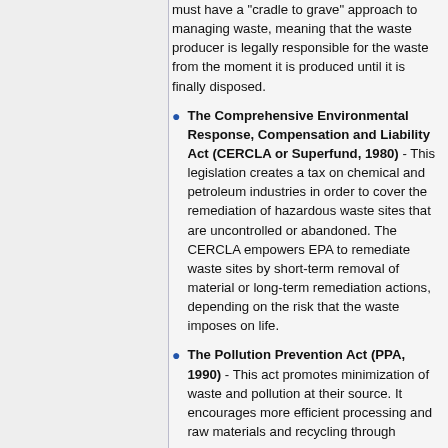must have a "cradle to grave" approach to managing waste, meaning that the waste producer is legally responsible for the waste from the moment it is produced until it is finally disposed.
The Comprehensive Environmental Response, Compensation and Liability Act (CERCLA or Superfund, 1980) - This legislation creates a tax on chemical and petroleum industries in order to cover the remediation of hazardous waste sites that are uncontrolled or abandoned. The CERCLA empowers EPA to remediate waste sites by short-term removal of material or long-term remediation actions, depending on the risk that the waste imposes on life.
The Pollution Prevention Act (PPA, 1990) - This act promotes minimization of waste and pollution at their source. It encourages more efficient processing and raw materials and recycling through